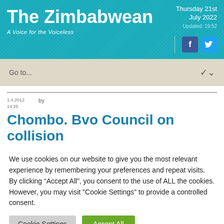The Zimbabwean — A Voice for the Voiceless | Thursday 21st July 2022 | Updated: 19:52
Go to...
1.4.2012 14:25  by
Chombo. Bvo Council on collision
We use cookies on our website to give you the most relevant experience by remembering your preferences and repeat visits. By clicking "Accept All", you consent to the use of ALL the cookies. However, you may visit "Cookie Settings" to provide a controlled consent.
Cookie Settings | Accept All